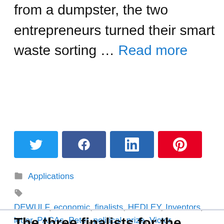from a dumpster, the two entrepreneurs turned their smart waste sorting … Read more
[Figure (other): Social share buttons: Twitter (blue), Facebook (dark blue), LinkedIn (dark blue), Pinterest (red)]
Applications
DEWULF, economic, finalists, HEDLEY, Inventors, letter, PACAs, Peter, political, prize, Victor
The three finalists for the